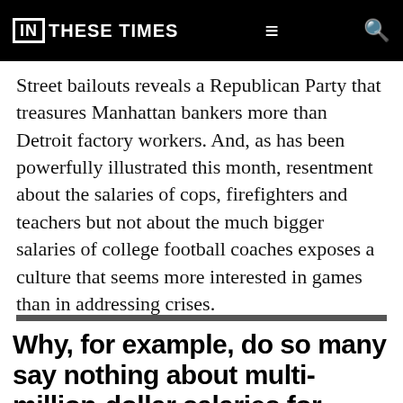IN THESE TIMES
Street bailouts reveals a Republican Party that treasures Manhattan bankers more than Detroit factory workers. And, as has been powerfully illustrated this month, resentment about the salaries of cops, firefighters and teachers but not about the much bigger salaries of college football coaches exposes a culture that seems more interested in games than in addressing crises.
Why, for example, do so many say nothing about multi-million-dollar salaries for coaches while simultaneously decrying the multi-thousand-dollar salaries of the fo...